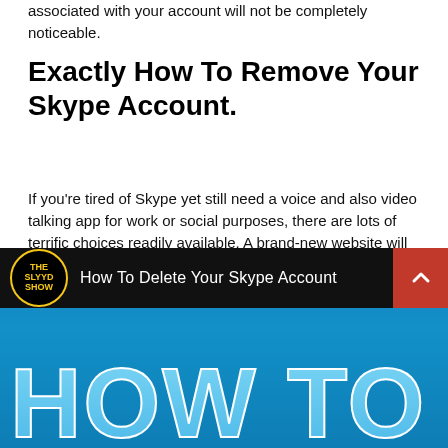associated with your account will not be completely noticeable.
Exactly How To Remove Your Skype Account.
If you're tired of Skype yet still need a voice and also video talking app for work or social purposes, there are lots of terrific choices readily available. A brand-new website will certainly open up where you can tweak your account setups. Scroll down to the 'Account Setup' heading and make adjustments. If you desire no interactions from Skype as well as you don't desire others to find your account, merely uncheck every one of packages. Currently, click 'Close Your Account' at the end of the pop-up home window.
[Figure (screenshot): Video thumbnail showing 'The Slyyd Show' logo on a dark bar with text 'How To Delete Your Skype Account' and large blue letters 'HOW TO DEL' partially visible on a blue background.]